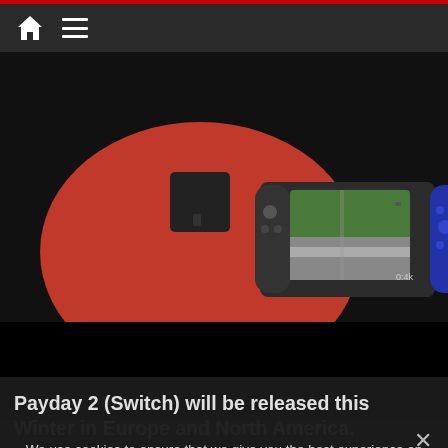Home | Menu
[Figure (photo): Person in red hoodie holding a Nintendo Switch console showing a game (appears to be Payday 2), pointing at the screen. Black bar below the photo area.]
Payday 2 (Switch) will be released this Winter in Europe and North America.
Gear Club Unlimited
Here's a trailer and some screenshots for Gear.Club Unlimited on Nintendo Switch:
We use cookies to ensure that we give you the best experience on our website. If you continue to use this site we will assume that you are happy with it.
I understand   Privacy policy